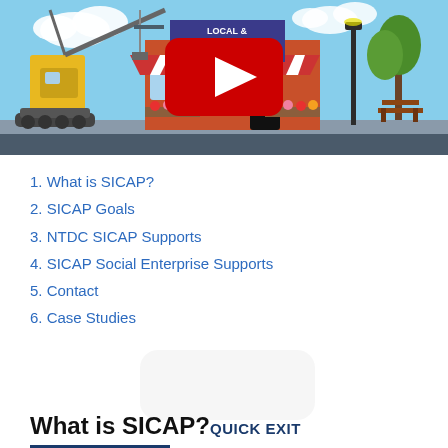[Figure (screenshot): Animated illustration of a local community development scene with a yellow construction crane on the left, a red-and-white striped awning shop in the center with a sign reading LOCAL COMMUNITY DEVELOPMENT, a street lamp and green trees on the right, and a YouTube play button overlay in the center.]
1. What is SICAP?
2. SICAP Goals
3. NTDC SICAP Supports
4. SICAP Social Enterprise Supports
5. Contact
6. Case Studies
What is SICAP?QUICK EXIT